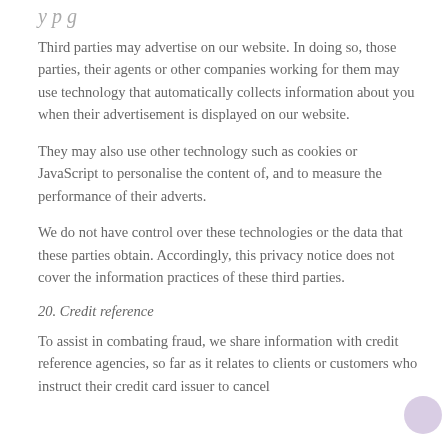y p g
Third parties may advertise on our website. In doing so, those parties, their agents or other companies working for them may use technology that automatically collects information about you when their advertisement is displayed on our website.
They may also use other technology such as cookies or JavaScript to personalise the content of, and to measure the performance of their adverts.
We do not have control over these technologies or the data that these parties obtain. Accordingly, this privacy notice does not cover the information practices of these third parties.
20. Credit reference
To assist in combating fraud, we share information with credit reference agencies, so far as it relates to clients or customers who instruct their credit card issuer to cancel